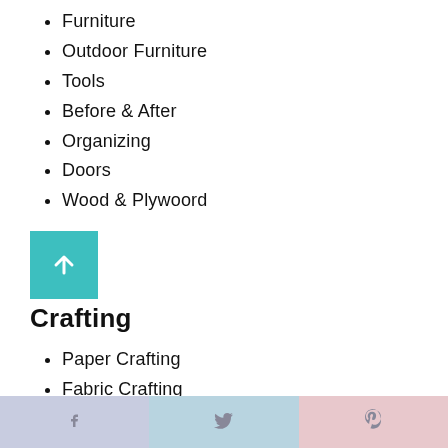Furniture
Outdoor Furniture
Tools
Before & After
Organizing
Doors
Wood & Plywoord
[Figure (other): Teal square button with white upward arrow icon]
Crafting
Paper Crafting
Fabric Crafting
Kids Crafts
Art
f  twitter  p